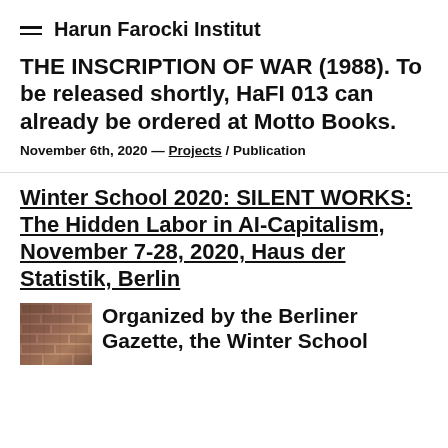Harun Farocki Institut
THE INSCRIPTION OF WAR (1988). To be released shortly, HaFI 013 can already be ordered at Motto Books.
November 6th, 2020 — Projects / Publication
Winter School 2020: SILENT WORKS: The Hidden Labor in AI-Capitalism, November 7-28, 2020, Haus der Statistik, Berlin
[Figure (photo): Thumbnail photo, appears to show a textile or woven material with brick-like texture in brown/reddish tones]
Organized by the Berliner Gazette, the Winter School